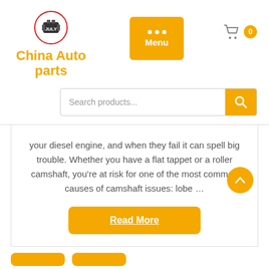[Figure (logo): July auto parts logo: circular red border with engine part icon and JULY text, followed by China Auto parts text in orange]
[Figure (other): Orange menu button with three white dots and Menu label]
[Figure (other): Shopping cart icon in gray with orange circle showing 0]
[Figure (other): Search products input field with orange search button]
your diesel engine, and when they fail it can spell big trouble. Whether you have a flat tappet or a roller camshaft, you're at risk for one of the most common causes of camshaft issues: lobe …
Read More